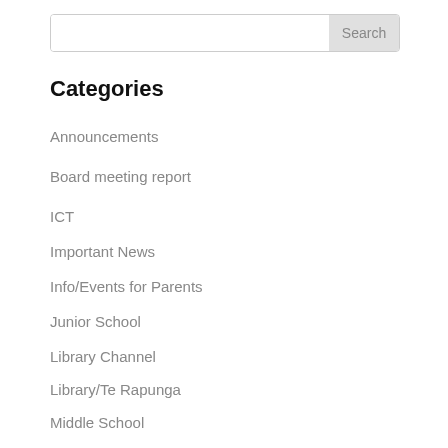Categories
Announcements
Board meeting report
ICT
Important News
Info/Events for Parents
Junior School
Library Channel
Library/Te Rapunga
Middle School
Opinion
Principal's News